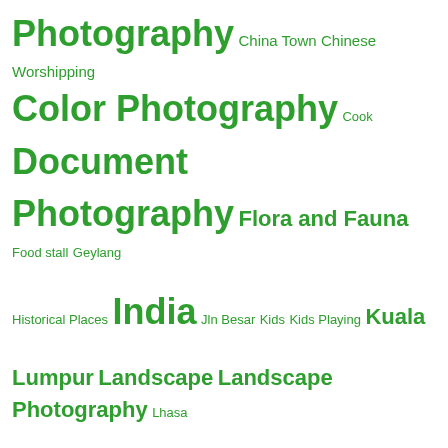[Figure (infographic): Tag cloud with photography and travel-related tags in various sizes, all in green color on white background. Larger tags include Photography, Color Photography, Document Photography, India, Landscape, Landscape Photography, Madurai, Madurai Meenakshi Amman Temple, Monochrome Photography, People, People and Places, People at work, People. Smaller tags include China Town, Chinese Worshipping, Cook, Flora and Fauna, Food stall, Geylang, Historical Places, Jln Besar, Kids, Kids Playing, Kuala Lumpur, Lhasa, Little India, Loading men, Malaysia, Mannequins, Meenakshi Amman Temple, Men at work, Mobile Cart, Mobile Sellers, Natural Reserve, Nature, Nature Lovers, Nature Photography, NParks, Old man, PayaLebar.]